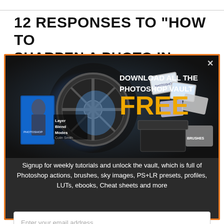12 RESPONSES TO "HOW TO SHARPEN A PHOTO IN PHOTOSHOP"
[Figure (illustration): Popup overlay with orange border on dark background. Shows a Photoshop vault promotional image with a vault door, flying Photoshop resources, and text 'DOWNLOAD ALL THE PHOTOSHOP VAULT FREE' in white and orange letters. Close X button in top right corner.]
Signup for weekly tutorials and unlock the vault, which is full of Photoshop actions, brushes, sky images, PS+LR presets, profiles, LUTs, ebooks, Cheat sheets and more
Enter your email address
UNLOCK FREEBEES